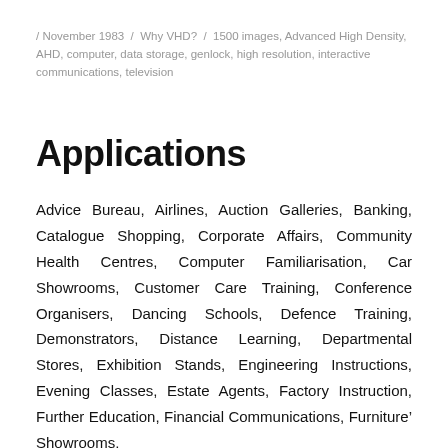/ November 1983 / Why VHD? / 1500 images, Advanced High Density, AHD, computer, data storage, genlock, high resolution, interactive communications, television
Applications
Advice Bureau, Airlines, Auction Galleries, Banking, Catalogue Shopping, Corporate Affairs, Community Health Centres, Computer Familiarisation, Car Showrooms, Customer Care Training, Conference Organisers, Dancing Schools, Defence Training, Demonstrators, Distance Learning, Departmental Stores, Exhibition Stands, Engineering Instructions, Evening Classes, Estate Agents, Factory Instruction, Further Education, Financial Communications, Furniture' Showrooms,